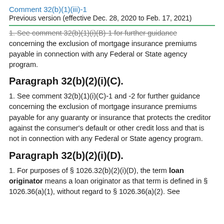Comment 32(b)(1)(iii)-1
Previous version (effective Dec. 28, 2020 to Feb. 17, 2021)
1. See comment 32(b)(1)(i)(B)-1 for further guidance concerning the exclusion of mortgage insurance premiums payable in connection with any Federal or State agency program.
Paragraph 32(b)(2)(i)(C).
1. See comment 32(b)(1)(i)(C)-1 and -2 for further guidance concerning the exclusion of mortgage insurance premiums payable for any guaranty or insurance that protects the creditor against the consumer's default or other credit loss and that is not in connection with any Federal or State agency program.
Paragraph 32(b)(2)(i)(D).
1. For purposes of § 1026.32(b)(2)(i)(D), the term loan originator means a loan originator as that term is defined in § 1026.36(a)(1), without regard to § 1026.36(a)(2). See